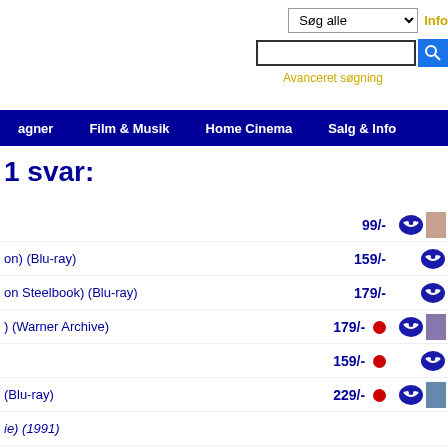[Figure (screenshot): Search bar area with dropdown 'Søg alle', text input, search button, and 'Avanceret søgning' link]
agner   Film & Musik   Home Cinema   Salg & Info
1 svar:
99/-
on) (Blu-ray)  159/-
on Steelbook) (Blu-ray)  179/-
) (Warner Archive)  179/-
159/-
(Blu-ray)  229/-
ie) (1991)